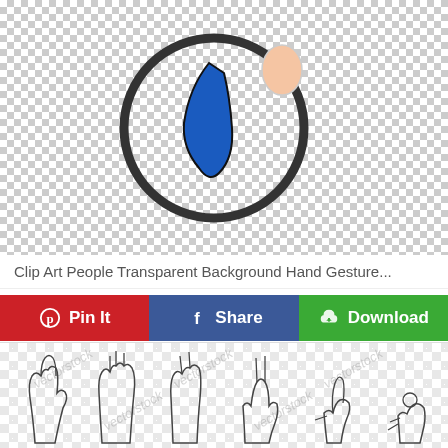[Figure (illustration): Clip art illustration of a person with a dark circular outline head and a blue speech bubble or hand gesture element, shown on a transparent checkered background]
Clip Art People Transparent Background Hand Gesture...
[Figure (illustration): Three rows of hand gesture outline drawings (sign language or gesture icons) shown on a white background with diagonal watermark text]
Pin It
Share
Download